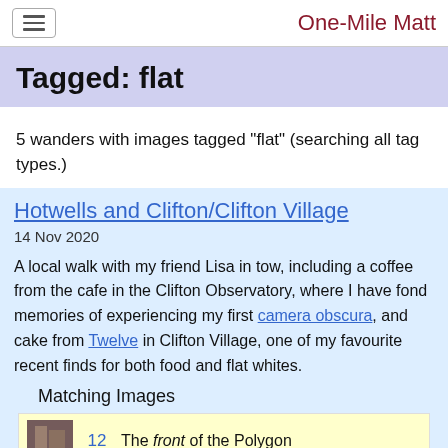One-Mile Matt
Tagged: flat
5 wanders with images tagged "flat" (searching all tag types.)
Hotwells and Clifton/Clifton Village
14 Nov 2020
A local walk with my friend Lisa in tow, including a coffee from the cafe in the Clifton Observatory, where I have fond memories of experiencing my first camera obscura, and cake from Twelve in Clifton Village, one of my favourite recent finds for both food and flat whites.
Matching Images
12   The front of the Polygon